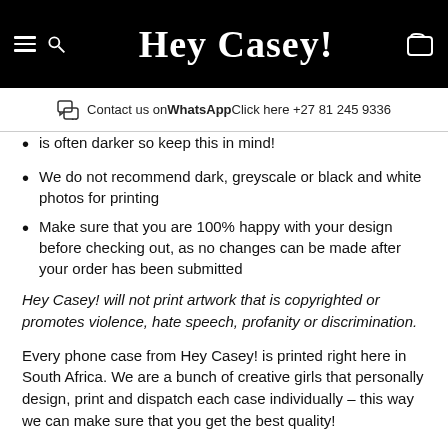Hey Casey!
Contact us on WhatsAppClick here +27 81 245 9336
is often darker so keep this in mind!
We do not recommend dark, greyscale or black and white photos for printing
Make sure that you are 100% happy with your design before checking out, as no changes can be made after your order has been submitted
Hey Casey! will not print artwork that is copyrighted or promotes violence, hate speech, profanity or discrimination.
Every phone case from Hey Casey! is printed right here in South Africa. We are a bunch of creative girls that personally design, print and dispatch each case individually – this way we can make sure that you get the best quality!